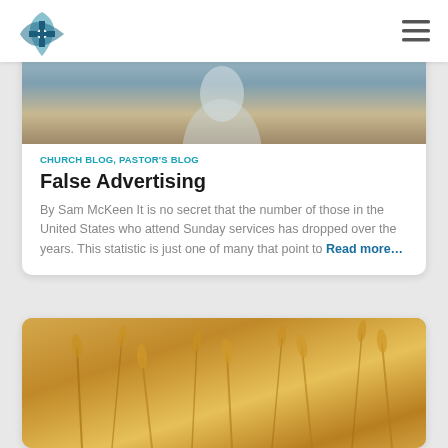[Figure (logo): Church logo with cross and compass/shield shape in teal/blue]
[Figure (other): Hamburger menu icon (three horizontal lines)]
[Figure (photo): Partially visible photo of a person, blurred background]
CHURCH BLOG, PASTOR'S BLOG
False Advertising
By Sam McKeen It is no secret that the number of those in the United States who attend Sunday services has dropped over the years. This statistic is just one of many that point to Read more…
[Figure (photo): Golden wheat field photo, blurred bokeh background]